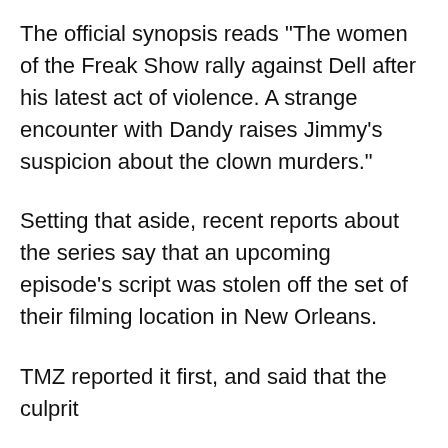The official synopsis reads "The women of the Freak Show rally against Dell after his latest act of violence. A strange encounter with Dandy raises Jimmy's suspicion about the clown murders."
Setting that aside, recent reports about the series say that an upcoming episode's script was stolen off the set of their filming location in New Orleans.
TMZ reported it first, and said that the culprit